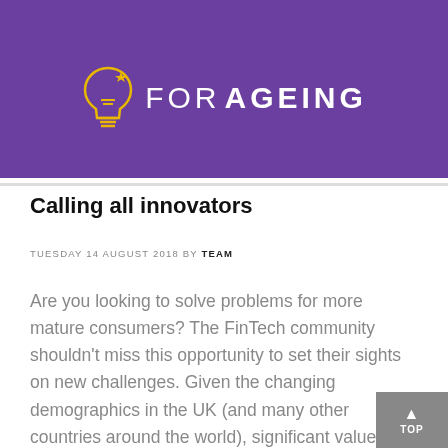[Figure (logo): Purple banner with a yellow lightbulb icon and white text reading 'FOR AGEING' where AGEING is bold]
Calling all innovators
TUESDAY 14 AUGUST 2018 BY TEAM
Are you looking to solve problems for more mature consumers? The FinTech community shouldn't miss this opportunity to set their sights on new challenges. Given the changing demographics in the UK (and many other countries around the world), significant value can be delivered to what is an economically powerful and growing community. We are